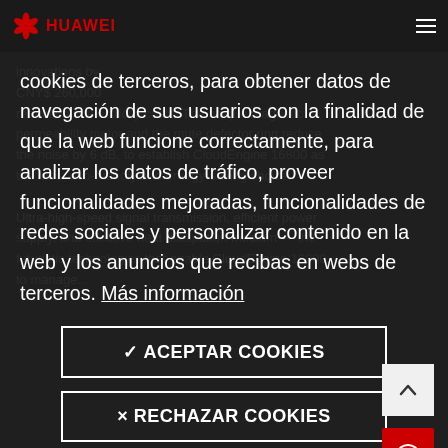HUAWEI
cookies de terceros, para obtener datos de navegación de sus usuarios con la finalidad de que la web funcione correctamente, para analizar los datos de tráfico, proveer funcionalidades mejoradas, funcionalidades de redes sociales y personalizar contenido en la web y los anuncios que recibas en webs de terceros. Más información
√ ACEPTAR COOKIES
× RECHAZAR COOKIES
CONFIGURACIÓN DE COOKIES >